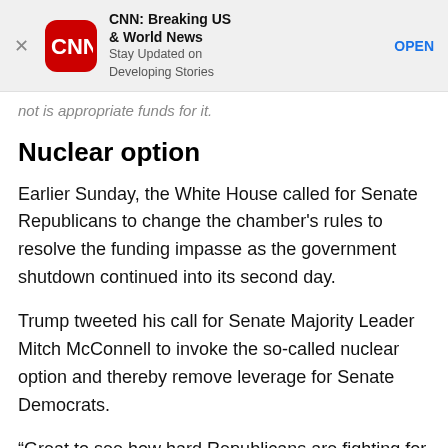[Figure (screenshot): CNN app advertisement banner with red rounded-square CNN logo, app name 'CNN: Breaking US & World News', subtitle 'Stay Updated on Developing Stories', and blue OPEN button. An X close button is on the left.]
not is appropriate funds for it.
Nuclear option
Earlier Sunday, the White House called for Senate Republicans to change the chamber's rules to resolve the funding impasse as the government shutdown continued into its second day.
Trump tweeted his call for Senate Majority Leader Mitch McConnell to invoke the so-called nuclear option and thereby remove leverage for Senate Democrats.
“Great to see how hard Republicans are fighting for our Military and Safety at the Border. The Dems just